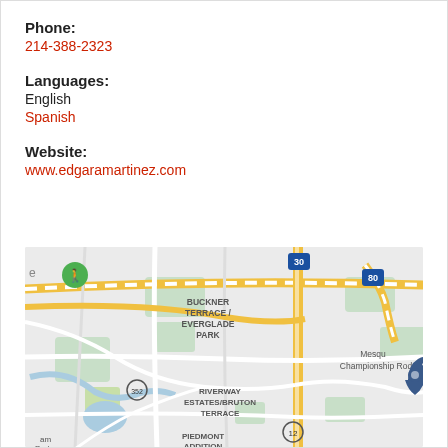Phone:
214-388-2323
Languages:
English
Spanish
Website:
www.edgaramartinez.com
[Figure (map): Google Maps view showing Dallas area including Buckner Terrace / Everglade Park, Riverway Estates/Bruton Terrace, Piedmont Addition, Mesquite Championship Rodeo area, with highway markers 30, 80, 352, 12 visible and a location pin marker on the right side.]